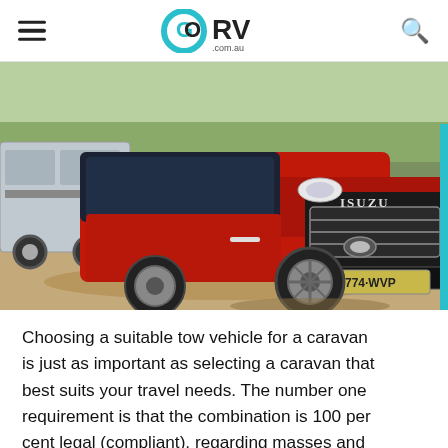GO RV .com.au
[Figure (photo): A red Isuzu D-Max pickup truck towing a caravan/trailer on a dirt off-road track surrounded by trees. License plate reads 774 WVP.]
Choosing a suitable tow vehicle for a caravan is just as important as selecting a caravan that best suits your travel needs. The number one requirement is that the combination is 100 per cent legal (compliant), regarding masses and ratings, and provides the best possible safety on the road.